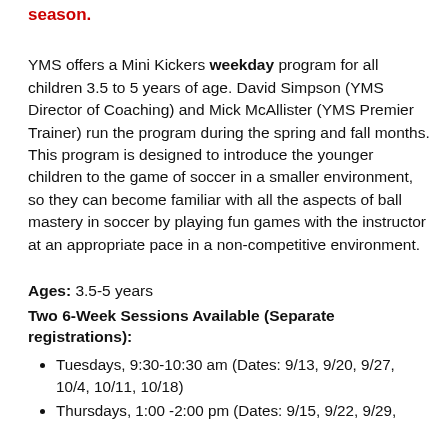season.
YMS offers a Mini Kickers weekday program for all children 3.5 to 5 years of age. David Simpson (YMS Director of Coaching) and Mick McAllister (YMS Premier Trainer) run the program during the spring and fall months. This program is designed to introduce the younger children to the game of soccer in a smaller environment, so they can become familiar with all the aspects of ball mastery in soccer by playing fun games with the instructor at an appropriate pace in a non-competitive environment.
Ages: 3.5-5 years
Two 6-Week Sessions Available (Separate registrations):
Tuesdays, 9:30-10:30 am (Dates: 9/13, 9/20, 9/27, 10/4, 10/11, 10/18)
Thursdays, 1:00 -2:00 pm (Dates: 9/15, 9/22, 9/29,